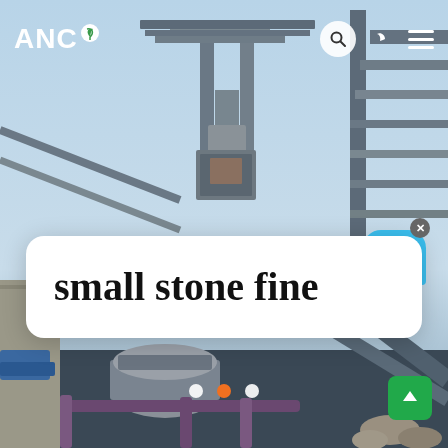[Figure (photo): Industrial stone crushing/processing machinery with steel frames, conveyor structures, and equipment under a light blue sky, photographed at a construction or mining facility.]
ANC
small stone fine
Live Chat
[Figure (other): Carousel navigation dots: two white dots and one orange/active dot indicating the current slide (slide 2 of 3).]
[Figure (other): Green scroll-to-top button with up arrow icon in bottom right corner.]